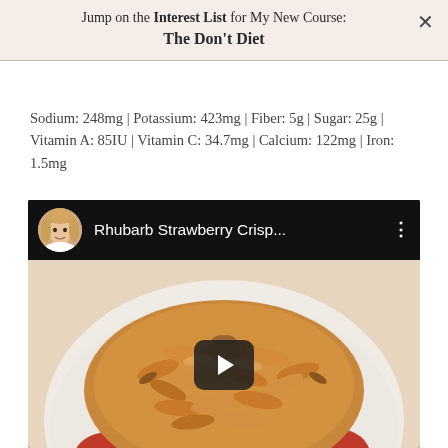Jump on the Interest List for My New Course:
The Don't Diet
Sodium: 248mg | Potassium: 423mg | Fiber: 5g | Sugar: 25g | Vitamin A: 85IU | Vitamin C: 34.7mg | Calcium: 122mg | Iron: 1.5mg
[Figure (screenshot): YouTube video embed showing a Rhubarb Strawberry Crisp recipe video with channel avatar, video title 'Rhubarb Strawberry Crisp...', and a play button over a photo of strawberry rhubarb crisp in a bowl]